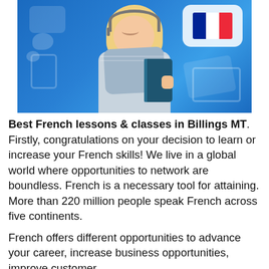[Figure (photo): Woman with headset and book on blue background with French flag speech bubble, representing French language learning]
Best French lessons & classes in Billings MT. Firstly, congratulations on your decision to learn or increase your French skills! We live in a global world where opportunities to network are boundless. French is a necessary tool for attaining. More than 220 million people speak French across five continents.
French offers different opportunities to advance your career, increase business opportunities, improve customer